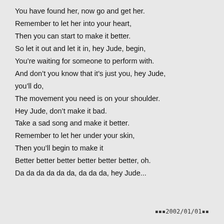You have found her, now go and get her.
Remember to let her into your heart,
Then you can start to make it better.
So let it out and let it in, hey Jude, begin,
You're waiting for someone to perform with.
And don't you know that it's just you, hey Jude, you'll do,
The movement you need is on your shoulder.
Hey Jude, don't make it bad.
Take a sad song and make it better.
Remember to let her under your skin,
Then you'll begin to make it
Better better better better better better, oh.
Da da da da da da, da da da, hey Jude...
▪▪▪2002/01/01▪▪